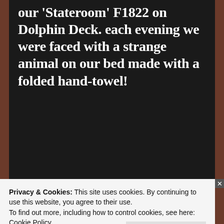our 'Stateroom' F1822 on Dolphin Deck. each evening we were faced with a strange animal on our bed made with a folded hand-towel!
[Figure (infographic): Longreads advertisement banner: red background with decorative border, Longreads logo circle and brand name, tagline 'The best stories on the web – ours, and everyone else's.']
[Figure (photo): Partially visible photo below the advertisement banner, appears to show fabric or towel in muted beige/grey tones.]
Privacy & Cookies: This site uses cookies. By continuing to use this website, you agree to their use.
To find out more, including how to control cookies, see here:
Cookie Policy
Close and accept